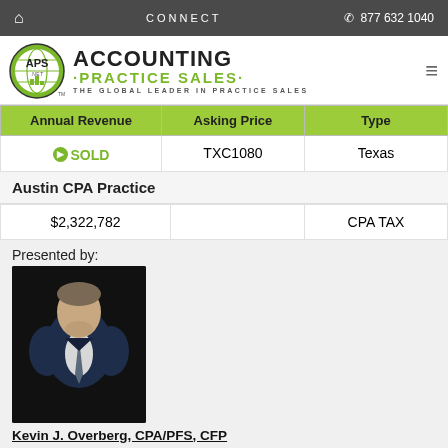🏠  CONNECT  📞 877 632 1040
[Figure (logo): Accounting Practice Sales logo with globe icon, green and black text, tagline THE GLOBAL LEADER IN PRACTICE SALES]
| Annual Revenue | Asking Price | Type |
| --- | --- | --- |
| ● SOLD | TXC1080 | Texas |
Austin CPA Practice
| $2,322,782 |  | CPA TAX |
Presented by:
[Figure (photo): Professional headshot of Kevin J. Overberg, a man in a dark navy suit with a tie, against a dark background]
Kevin J. Overberg, CPA/PFS, CFP
Office: 720-988-4334